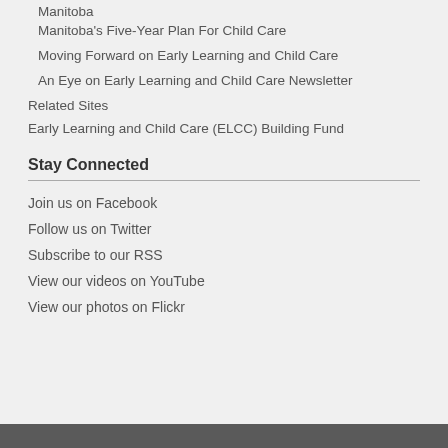Manitoba
Manitoba's Five-Year Plan For Child Care
Moving Forward on Early Learning and Child Care
An Eye on Early Learning and Child Care Newsletter
Related Sites
Early Learning and Child Care (ELCC) Building Fund
Stay Connected
Join us on Facebook
Follow us on Twitter
Subscribe to our RSS
View our videos on YouTube
View our photos on Flickr